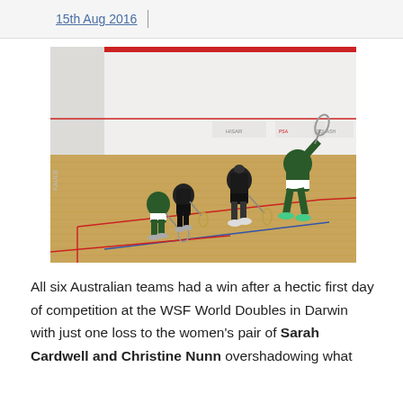15th Aug 2016
[Figure (photo): Four women playing squash doubles on an indoor court with wooden floors. Two players wear green/white outfits and two wear black. Red and blue boundary lines are visible on the court floor. Sponsors logos on the back wall.]
All six Australian teams had a win after a hectic first day of competition at the WSF World Doubles in Darwin with just one loss to the women's pair of Sarah Cardwell and Christine Nunn overshadowing what